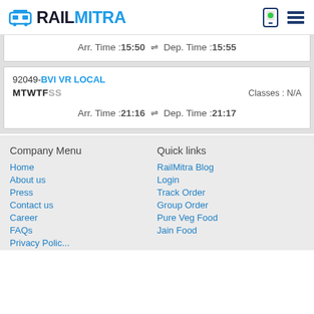RAILMITRA
Arr. Time :15:50  ⇌  Dep. Time :15:55
92049-BVI VR LOCAL
MTWTFSS    Classes : N/A
Arr. Time :21:16  ⇌  Dep. Time :21:17
Company Menu
Quick links
Home
RailMitra Blog
About us
Login
Press
Track Order
Contact us
Group Order
Career
Pure Veg Food
FAQs
Jain Food